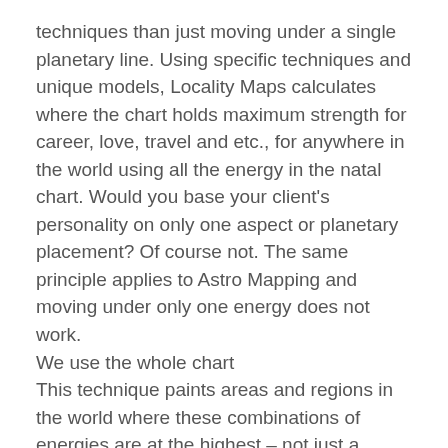techniques than just moving under a single planetary line. Using specific techniques and unique models, Locality Maps calculates where the chart holds maximum strength for career, love, travel and etc., for anywhere in the world using all the energy in the natal chart. Would you base your client's personality on only one aspect or planetary placement? Of course not. The same principle applies to Astro Mapping and moving under only one energy does not work.
We use the whole chart
This technique paints areas and regions in the world where these combinations of energies are at the highest – not just a single line. Let's say that you were born with strong Jupiter would you want to know where on the planet that Jupiter is in your 2nd house for money, 3rd house for writing, 4th house for living ETC. Our LOCALITY MAPS allows you to do just that and much, much more. Make any of your own models and it will display on a map where these models are the most powerful. At a glance you can see the patterns displayed! This gives you